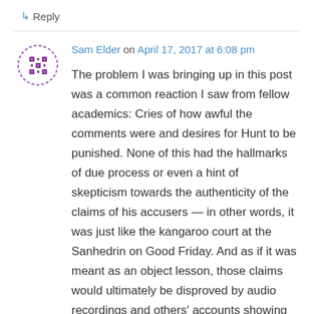↳ Reply
Sam Elder on April 17, 2017 at 6:08 pm
The problem I was bringing up in this post was a common reaction I saw from fellow academics: Cries of how awful the comments were and desires for Hunt to be punished. None of this had the hallmarks of due process or even a hint of skepticism towards the authenticity of the claims of his accusers — in other words, it was just like the kangaroo court at the Sanhedrin on Good Friday. And as if it was meant as an object lesson, those claims would ultimately be disproved by audio recordings and others' accounts showing that it was meant and